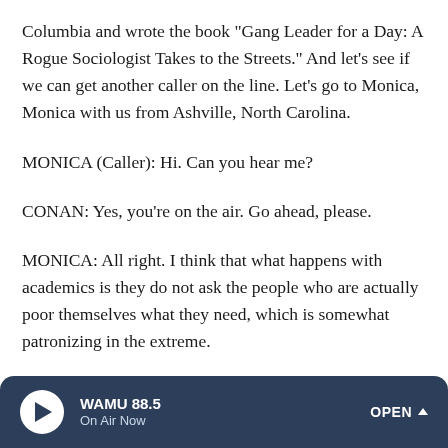Columbia and wrote the book "Gang Leader for a Day: A Rogue Sociologist Takes to the Streets." And let's see if we can get another caller on the line. Let's go to Monica, Monica with us from Ashville, North Carolina.
MONICA (Caller): Hi. Can you hear me?
CONAN: Yes, you're on the air. Go ahead, please.
MONICA: All right. I think that what happens with academics is they do not ask the people who are actually poor themselves what they need, which is somewhat patronizing in the extreme.
People can basically fall out of poverty for many reasons in
WAMU 88.5 On Air Now OPEN